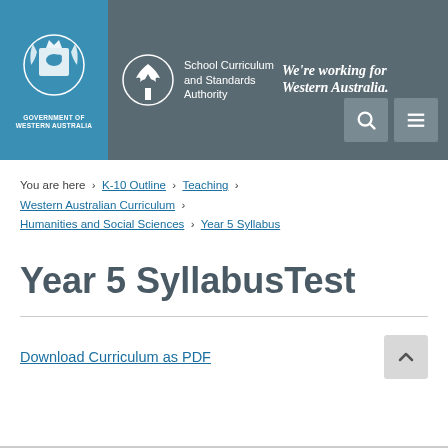[Figure (logo): Government of Western Australia coat of arms logo on blue background, with text 'GOVERNMENT OF WESTERN AUSTRALIA']
[Figure (logo): School Curriculum and Standards Authority tree logo with text 'School Curriculum and Standards Authority' and tagline 'We're working for Western Australia.']
You are here  >  K-10 Outline  >  Teaching  >  Western Australian Curriculum  >  Humanities and Social Sciences  >  Year 5 Syllabus
Year 5 SyllabusTest
Download Curriculum as PDF